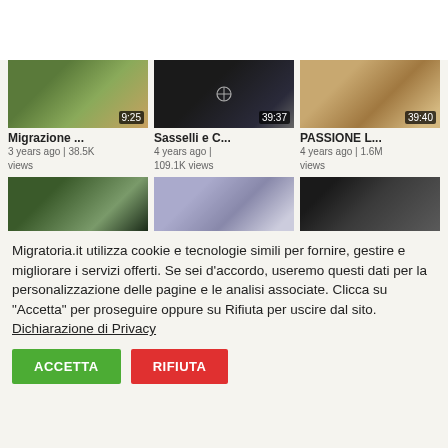[Figure (screenshot): Video thumbnail grid showing 6 video cards. Top row: 'Migrazione ...' (9:25, 3 years ago | 38.5K views), 'Sasselli e C...' (39:37, 4 years ago | 109.1K views), 'PASSIONE L...' (39:40, 4 years ago | 1.6M views). Bottom row: three more partially visible thumbnails.]
Migratoria.it utilizza cookie e tecnologie simili per fornire, gestire e migliorare i servizi offerti. Se sei d'accordo, useremo questi dati per la personalizzazione delle pagine e le analisi associate. Clicca su "Accetta" per proseguire oppure su Rifiuta per uscire dal sito. Dichiarazione di Privacy
ACCETTA
RIFIUTA